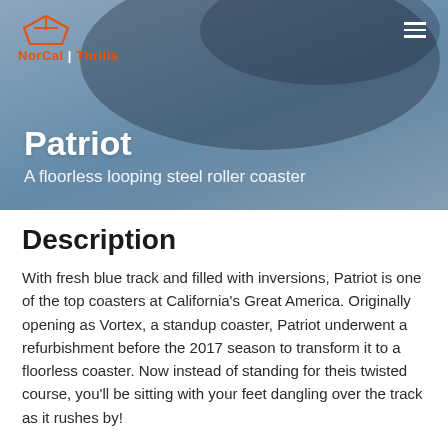[Figure (photo): Header banner with blurred roller coaster track image, blue-grey tones, with NorCal Thrills logo top left and hamburger menu top right]
Patriot
A floorless looping steel roller coaster
Description
With fresh blue track and filled with inversions, Patriot is one of the top coasters at California's Great America. Originally opening as Vortex, a standup coaster, Patriot underwent a refurbishment before the 2017 season to transform it to a floorless coaster. Now instead of standing for theis twisted course, you'll be sitting with your feet dangling over the track as it rushes by!